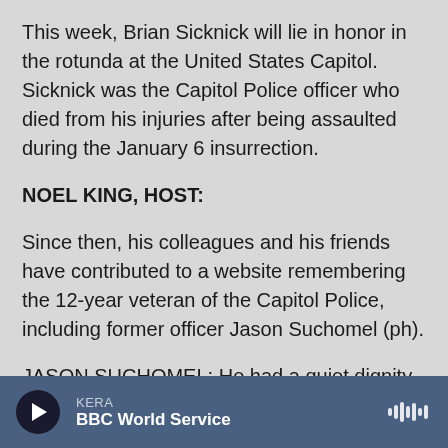This week, Brian Sicknick will lie in honor in the rotunda at the United States Capitol. Sicknick was the Capitol Police officer who died from his injuries after being assaulted during the January 6 insurrection.
NOEL KING, HOST:
Since then, his colleagues and his friends have contributed to a website remembering the 12-year veteran of the Capitol Police, including former officer Jason Suchomel (ph).
JASON SUCHOMEL: He had a quiet dignity about him.
KERA  BBC World Service